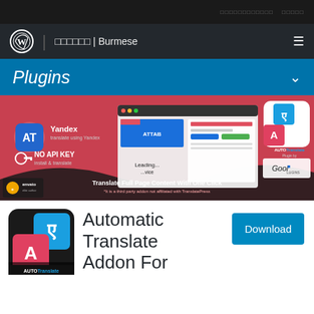□□□□□□□□□□□□   □□□□□
□□□□□□ | Burmese
Plugins
[Figure (screenshot): Promotional banner for Automatic Translate Addon For TranslatePress plugin, showing Yandex translation, No API Key features, Translate Full Page Content With One Click, by Gool Plugins, sold on Envato as elite author.]
[Figure (logo): AutoTranslate plugin icon — square icon with blue and red squares showing 'A' letters in Hindi and Latin, black background, rounded corners.]
Automatic Translate Addon For
Download